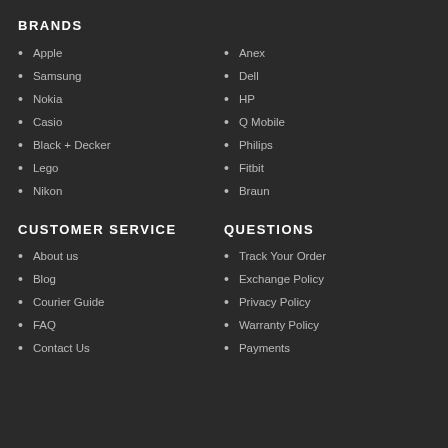BRANDS
Apple
Samsung
Nokia
Casio
Black + Decker
Lego
Nikon
Anex
Dell
HP
Q Mobile
Philips
Fitbit
Braun
CUSTOMER SERVICE
About us
Blog
Courier Guide
FAQ
Contact Us
QUESTIONS
Track Your Order
Exchange Policy
Privacy Policy
Warranty Policy
Payments